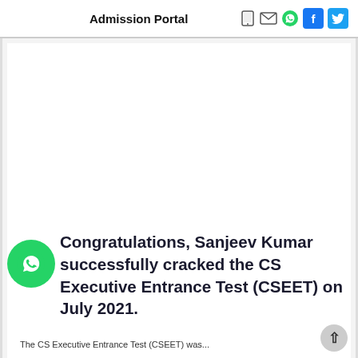Admission Portal
Congratulations, Sanjeev Kumar successfully cracked the CS Executive Entrance Test (CSEET) on July 2021.
The CS Executive Entrance Test (CSEET) was...